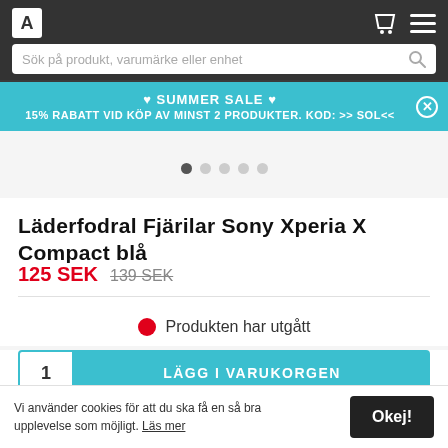[Figure (screenshot): Website header with dark background, logo box, shopping cart icon, hamburger menu icon, and search bar with placeholder text 'Sök på produkt, varumärke eller enhet']
♥ SUMMER SALE ♥
15% RABATT VID KÖP AV MINST 2 PRODUKTER. KOD: >> SOL<<
Läderfodral Fjärilar Sony Xperia X Compact blå
125 SEK  139 SEK
Produkten har utgått
1   LÄGG I VARUKORGEN
Vi använder cookies för att du ska få en så bra upplevelse som möjligt. Läs mer